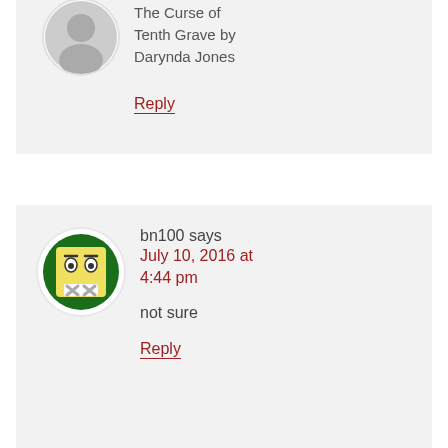The Curse of Tenth Grave by Darynda Jones
Reply
bn100 says
July 10, 2016 at 4:44 pm
not sure
Reply